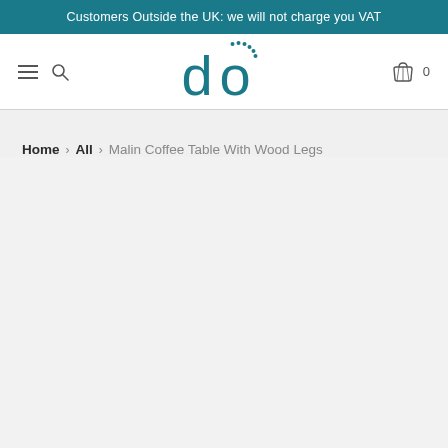Customers Outside the UK: we will not charge you VAT
[Figure (logo): Do furniture brand logo — stylized 'd' and 'o' letters in teal with decorative dots above]
Home > All > Malin Coffee Table With Wood Legs